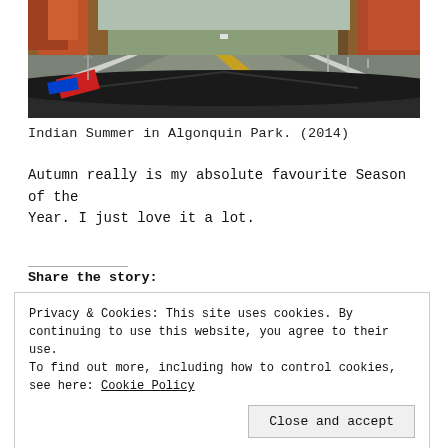[Figure (photo): View from inside a car driving on a two-lane highway through autumn forest. Dashboard and red toy/accessory visible on left. A car ahead on the road. Trees with fall foliage on both sides.]
Indian Summer in Algonquin Park. (2014)
Autumn really is my absolute favourite Season of the Year. I just love it a lot.
Share the story:
Privacy & Cookies: This site uses cookies. By continuing to use this website, you agree to their use.
To find out more, including how to control cookies, see here: Cookie Policy